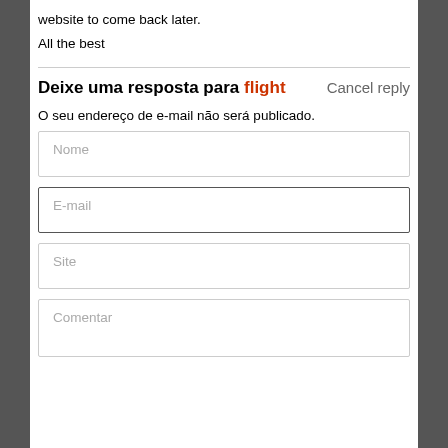website to come back later.
All the best
Deixe uma resposta para flight   Cancel reply
O seu endereço de e-mail não será publicado.
Nome
E-mail
Site
Comentar